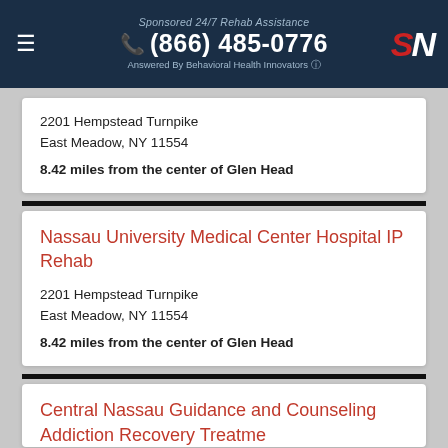Sponsored 24/7 Rehab Assistance (866) 485-0776 Answered By Behavioral Health Innovators
2201 Hempstead Turnpike
East Meadow, NY 11554
8.42 miles from the center of Glen Head
Nassau University Medical Center Hospital IP Rehab
2201 Hempstead Turnpike
East Meadow, NY 11554
8.42 miles from the center of Glen Head
Central Nassau Guidance and Counseling Addiction Recovery Treatme